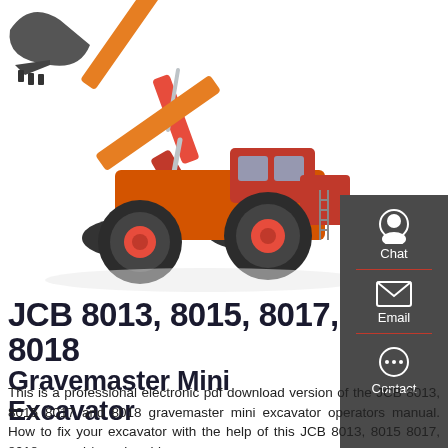[Figure (photo): Orange XGMA wheel loader / front-end loader with black bucket raised, on white background]
JCB 8013, 8015, 8017, 8018
Gravemaster Mini Excavator
This is a professional electronic pdf download version of the JCB 8013, 8015 8017 and 8018 gravemaster mini excavator operators manual. How to fix your excavator with the help of this JCB 8013, 8015 8017, 8018 manual / repair guide.